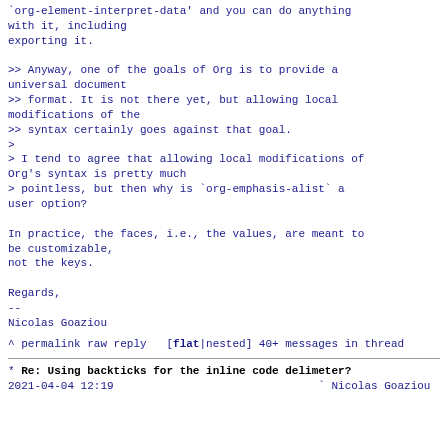`org-element-interpret-data' and you can do anything with it, including
exporting it.

>> Anyway, one of the goals of Org is to provide a universal document
>> format. It is not there yet, but allowing local modifications of the
>> syntax certainly goes against that goal.
>
> I tend to agree that allowing local modifications of Org's syntax is pretty much
> pointless, but then why is `org-emphasis-alist` a user option?

In practice, the faces, i.e., the values, are meant to be customizable,
not the keys.

Regards,
--
Nicolaes Goaziou
^ permalink raw reply   [flat|nested]  40+ messages in thread
* Re: Using backticks for the inline code delimeter?
2021-04-04 12:19                               ` Nicolas Goaziou